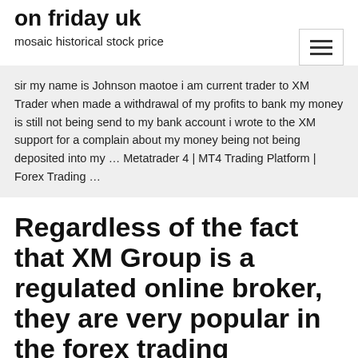on friday uk
mosaic historical stock price
sir my name is Johnson maotoe i am current trader to XM Trader when made a withdrawal of my profits to bank my money is still not being send to my bank account i wrote to the XM support for a complain about my money being not being deposited into my … Metatrader 4 | MT4 Trading Platform | Forex Trading …
Regardless of the fact that XM Group is a regulated online broker, they are very popular in the forex trading community most